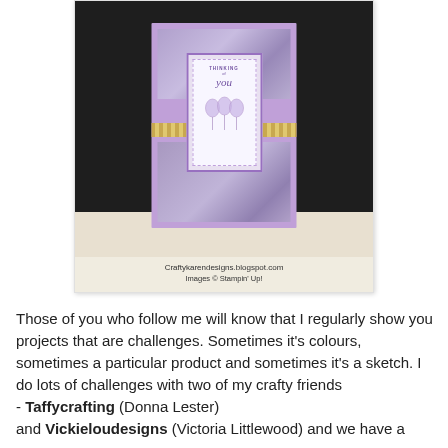[Figure (photo): A photograph of a handmade purple greeting card with floral/lavender patterned paper, a center panel reading 'Thinking of you' with balloon images, a golden ribbon stripe, displayed on a light surface against a dark background. Caption below reads: Craftykarendesigns.blogspot.com / Images © Stampin' Up!]
Craftykarendesigns.blogspot.com
Images © Stampin' Up!
Those of you who follow me will know that I regularly show you projects that are challenges.  Sometimes it's colours, sometimes a particular product and sometimes it's a sketch. I do lots of challenges with two of my crafty friends - Taffycrafting (Donna Lester) and Vickieloudesigns (Victoria Littlewood) and we have a